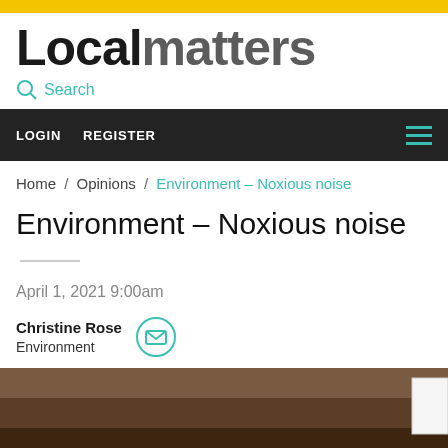Local matters
Search
LOGIN   REGISTER
Home / Opinions / Environment – Noxious noise
Environment – Noxious noise
April 1, 2021 9:00am
Christine Rose
Environment
[Figure (photo): Photo at the bottom of the article page, showing a dark brownish outdoor scene]